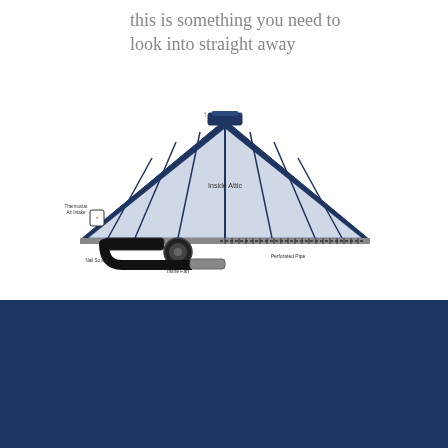this is something you need to look into straight away
[Figure (schematic): Diagram of attic ventilation system showing roof cross-section with ridge vent (Peak Vent That Ensures Fiber Bridge To Block Airflow), inside attic, thermostat, air intake, inline fan, perforated pipe, and labeled components.]
[Figure (logo): 4WEATHER INSULATION & VENTILATION company logo in white and grey on dark navy blue background]
[Figure (other): Up arrow button (chevron) and envelope/mail button on dark navy blue background]